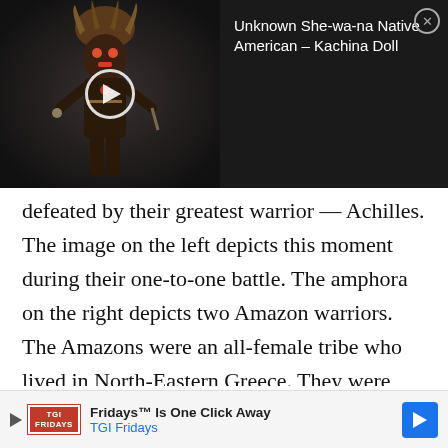[Figure (screenshot): Video thumbnail showing a Kachina doll figure against a dark background with a play button overlay. Right side shows dark panel with video title text and a close button.]
defeated by their greatest warrior — Achilles. The image on the left depicts this moment during their one-to-one battle. The amphora on the right depicts two Amazon warriors. The Amazons were an all-female tribe who lived in North-Eastern Greece. They were famous for their prowess in battle and were especially skilled at fighting on horseback.
[Figure (screenshot): Advertisement banner for TGI Fridays: 'Fridays™ Is One Click Away' with TGI Fridays logo, play button, and blue arrow navigation icon.]